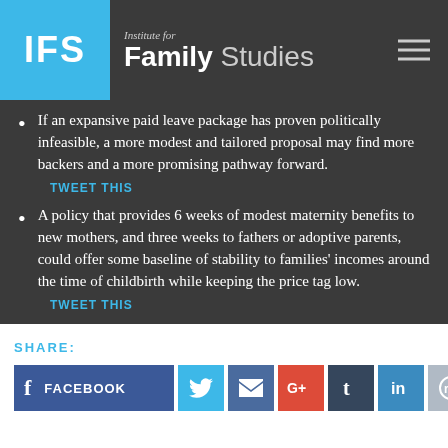Institute for Family Studies
If an expansive paid leave package has proven politically infeasible, a more modest and tailored proposal may find more backers and a more promising pathway forward.
TWEET THIS
A policy that provides 6 weeks of modest maternity benefits to new mothers, and three weeks to fathers or adoptive parents, could offer some baseline of stability to families' incomes around the time of childbirth while keeping the price tag low.
TWEET THIS
SHARE:
FACEBOOK | Twitter | Email | Google+ | Tumblr | LinkedIn | Reddit